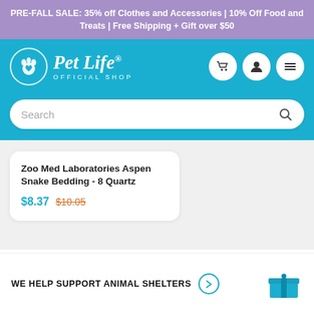PRE-FALL SALE: 35% off Clothes and Accessories | 10% Off Food and Treats | Free Shipping + Gift over $50
[Figure (logo): Pet Life Official Shop logo with paw print icon on teal background, with cart, user, and menu icon buttons]
Search
Zoo Med Laboratories Aspen Snake Bedding - 8 Quartz
$8.37 $10.05
WE HELP SUPPORT ANIMAL SHELTERS